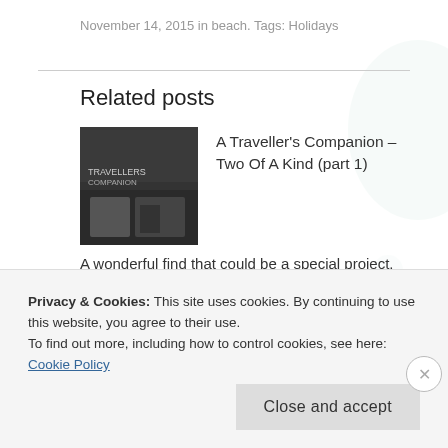November 14, 2015 in beach. Tags: Holidays
Related posts
A Traveller's Companion – Two Of A Kind (part 1)
A wonderful find that could be a special project.
Typewriters under the microscope
Privacy & Cookies: This site uses cookies. By continuing to use this website, you agree to their use.
To find out more, including how to control cookies, see here: Cookie Policy
Close and accept